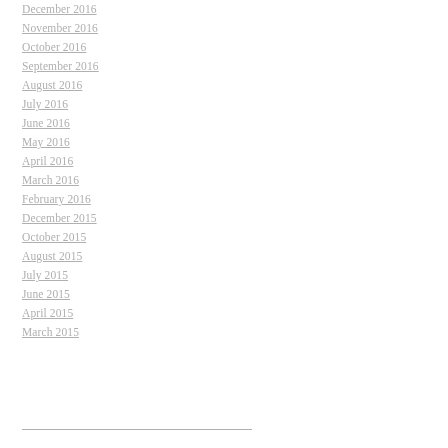December 2016
November 2016
October 2016
September 2016
August 2016
July 2016
June 2016
May 2016
April 2016
March 2016
February 2016
December 2015
October 2015
August 2015
July 2015
June 2015
April 2015
March 2015